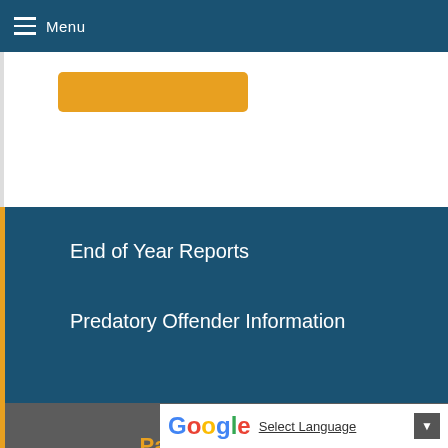Menu
End of Year Reports
Predatory Offender Information
Parks and Trails
Trail Maps
Parks and Locations
Park Shelters
Off Leash Dog A…